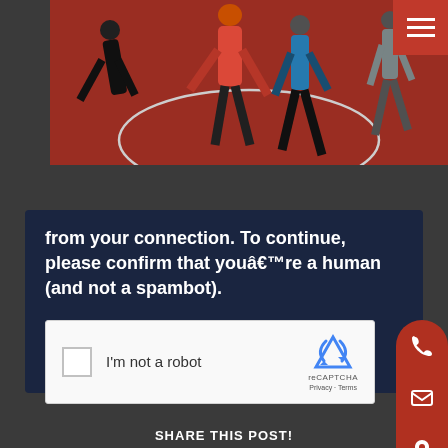[Figure (photo): People practicing martial arts or wrestling on a red mat in a gym]
from your connection. To continue, please confirm that youâ€™re a human (and not a spambot).
[Figure (screenshot): reCAPTCHA widget with checkbox labeled I'm not a robot]
SHARE THIS POST!